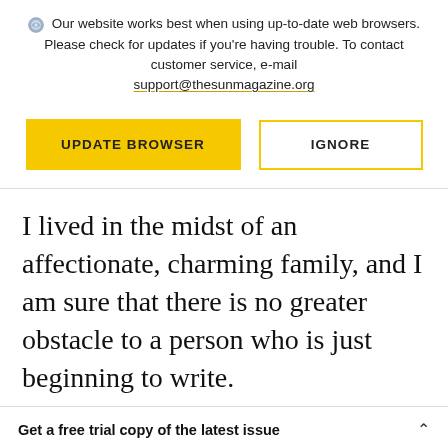Our website works best when using up-to-date web browsers. Please check for updates if you're having trouble. To contact customer service, e-mail support@thesunmagazine.org
[Figure (infographic): Two buttons: a yellow filled button labeled UPDATE BROWSER and a yellow-outlined button labeled IGNORE]
I lived in the midst of an affectionate, charming family, and I am sure that there is no greater obstacle to a person who is just beginning to write.
Get a free trial copy of the latest issue